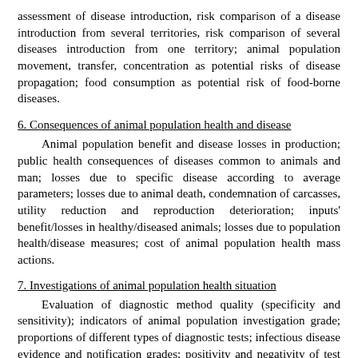assessment of disease introduction, risk comparison of a disease introduction from several territories, risk comparison of several diseases introduction from one territory; animal population movement, transfer, concentration as potential risks of disease propagation; food consumption as potential risk of food-borne diseases.
6. Consequences of animal population health and disease
Animal population benefit and disease losses in production; public health consequences of diseases common to animals and man; losses due to specific disease according to average parameters; losses due to animal death, condemnation of carcasses, utility reduction and reproduction deterioration; inputs' benefit/losses in healthy/diseased animals; losses due to population health/disease measures; cost of animal population health mass actions.
7. Investigations of animal population health situation
Evaluation of diagnostic method quality (specificity and sensitivity); indicators of animal population investigation grade; proportions of different types of diagnostic tests; infectious disease evidence and notification grades; positivity and negativity of test results; agreement between test results of two investigators, concordance grade of compared test results and comparison of two tests according to their specificity and sensitivity; population multi-etiological investigations; testing parasitic diseases extensity and intensity; testing infection intensity grades; predictive values